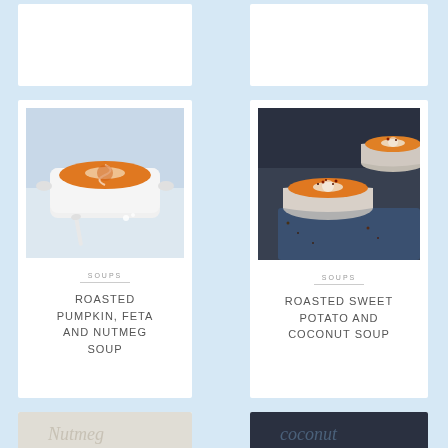[Figure (photo): Partially visible top-left recipe card]
[Figure (photo): Partially visible top-right recipe card]
[Figure (photo): Photo of roasted pumpkin soup in a white pot with swirl of cream]
SOUPS
ROASTED PUMPKIN, FETA AND NUTMEG SOUP
[Figure (photo): Photo of roasted sweet potato and coconut soup in two white bowls with chili flakes on dark background]
SOUPS
ROASTED SWEET POTATO AND COCONUT SOUP
[Figure (photo): Partially visible bottom-left recipe card]
[Figure (photo): Partially visible bottom-right recipe card]